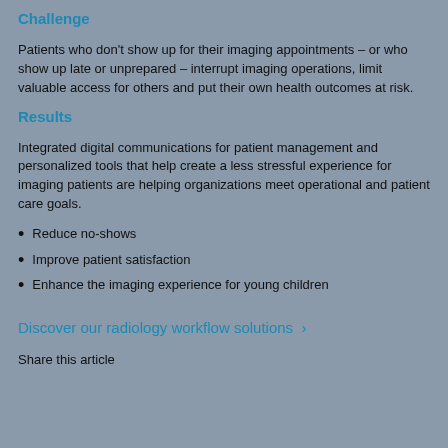Challenge
Patients who don't show up for their imaging appointments – or who show up late or unprepared – interrupt imaging operations, limit valuable access for others and put their own health outcomes at risk.
Results
Integrated digital communications for patient management and personalized tools that help create a less stressful experience for imaging patients are helping organizations meet operational and patient care goals.
Reduce no-shows
Improve patient satisfaction
Enhance the imaging experience for young children
Discover our radiology workflow solutions  ›
Share this article